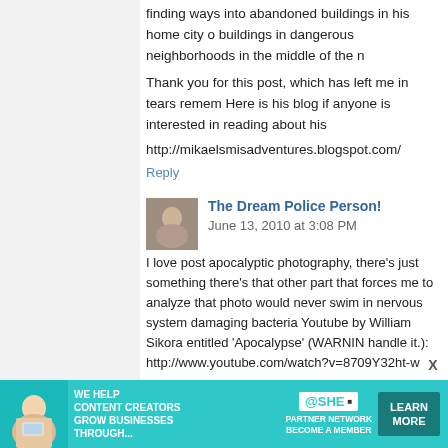finding ways into abandoned buildings in his home city of buildings in dangerous neighborhoods in the middle of the n
Thank you for this post, which has left me in tears remem Here is his blog if anyone is interested in reading about his
http://mikaelsmisadventures.blogspot.com/
Reply
The Dream Police Person!  June 13, 2010 at 3:08 PM
I love post apocalyptic photography, there's just something there's that other part that forces me to analyze that photo would never swim in nervous system damaging bacteria Youtube by William Sikora entitled 'Apocalypse' (WARNING handle it.): http://www.youtube.com/watch?v=8709Y32ht-w
Reply
Tamsin  June 13, 2010 at 3:14 PM
I fnd this site fascinating: http://www.simoncornwell.com/ur other places.
Love the variety of subjects you've covered in your bl
[Figure (infographic): Advertisement banner: SHE media partner network - We help content creators grow businesses through... Learn More button, with photo of woman with laptop]